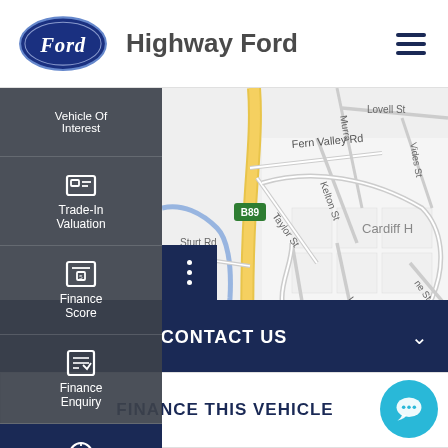[Figure (logo): Ford oval logo in dark blue with Ford script text in white]
Highway Ford
[Figure (map): Google Maps view of Cardiff area showing streets including Fern Valley Rd, Lovell St, Vides St, Murra, Taylor St, Kelton St, Sturt Rd, Veronica St, with a yellow route road (B89) and a blue waterway]
Vehicle Of Interest
Trade-In Valuation
Finance Score
Finance Enquiry
Book A Test Drive
CONTACT US
FINANCE THIS VEHICLE